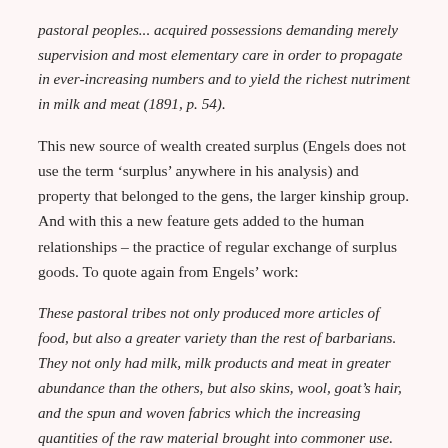pastoral peoples... acquired possessions demanding merely supervision and most elementary care in order to propagate in ever-increasing numbers and to yield the richest nutriment in milk and meat (1891, p. 54).
This new source of wealth created surplus (Engels does not use the term 'surplus' anywhere in his analysis) and property that belonged to the gens, the larger kinship group. And with this a new feature gets added to the human relationships – the practice of regular exchange of surplus goods. To quote again from Engels' work:
These pastoral tribes not only produced more articles of food, but also a greater variety than the rest of barbarians. They not only had milk, milk products and meat in greater abundance than the others, but also skins, wool, goat's hair, and the spun and woven fabrics which the increasing quantities of the raw material brought into commoner use. This for the first time made regular